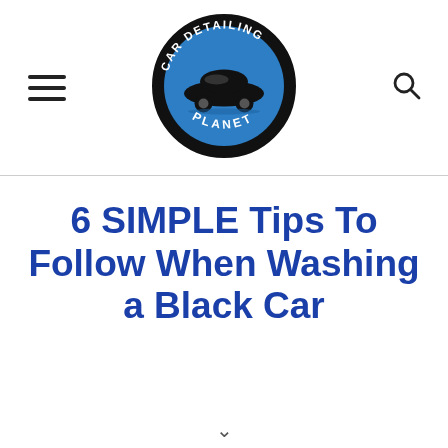[Figure (logo): Car Detailing Planet circular logo with blue background, black sports car silhouette in center, white text reading CAR DETAILING at top and PLANET at bottom]
6 SIMPLE Tips To Follow When Washing a Black Car